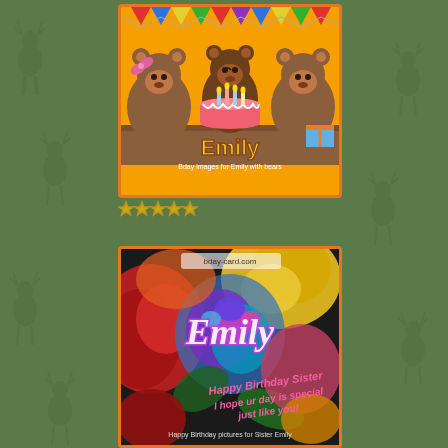[Figure (illustration): Birthday card with cartoon bears and a birthday cake. The name 'Emily' is written in yellow block letters. Subtitle: 'Bday images for Emily with bears'. Orange/yellow background with bunting flags.]
[Figure (other): Five outlined star rating icons in orange/yellow]
Bday images for Emily with bears
[Figure (photo): Birthday card photo with colorful rainbow roses in the background. The name 'Emily' written in glowing purple/pink script. Text reads: 'Happy Birthday Sister I hope ur day is special just like you!' and 'Happy Birthday pictures for Sister Emily'. Website watermark: bday-card.com]
Happy Birthday pictures for Sister Emily